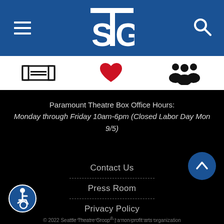STG - Seattle Theatre Group
[Figure (screenshot): Navigation icon bar with ticket icon, heart icon, and group/people icon]
Paramount Theatre Box Office Hours:
Monday through Friday 10am-6pm (Closed Labor Day Mon 9/5)
Contact Us
Press Room
Privacy Policy
Sitemap
[Figure (logo): Accessibility icon - wheelchair symbol in blue circle]
© 2022 Seattle Theatre Group® | a non-profit arts organization